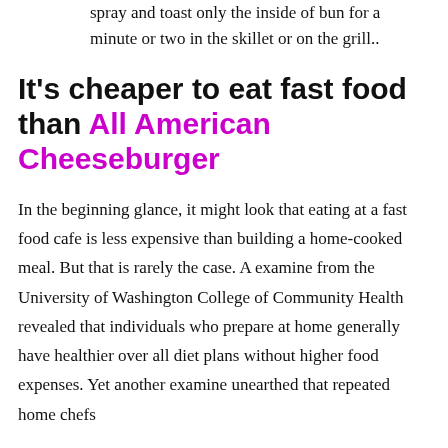2. Spray the inside of your buns with non stick spray and toast only the inside of bun for a minute or two in the skillet or on the grill..
It's cheaper to eat fast food than All American Cheeseburger
In the beginning glance, it might look that eating at a fast food cafe is less expensive than building a home-cooked meal. But that is rarely the case. A examine from the University of Washington College of Community Health revealed that individuals who prepare at home generally have healthier over all diet plans without higher food expenses. Yet another examine unearthed that repeated home chefs